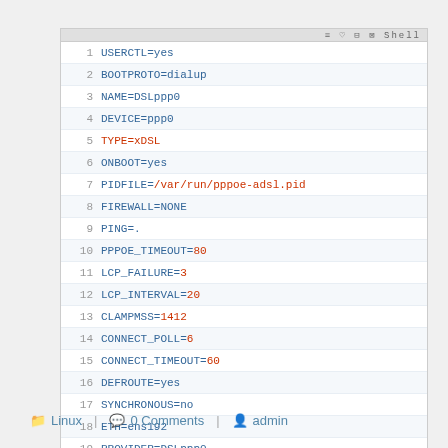[Figure (screenshot): Code editor screenshot showing network configuration file (ifcfg-DSLppp0) with 23 lines of key=value pairs. Line numbers shown on left. Keys in blue, some values in red (numbers and special values), some values in blue. Alternating light blue/white row backgrounds.]
Linux | 0 Comments | admin